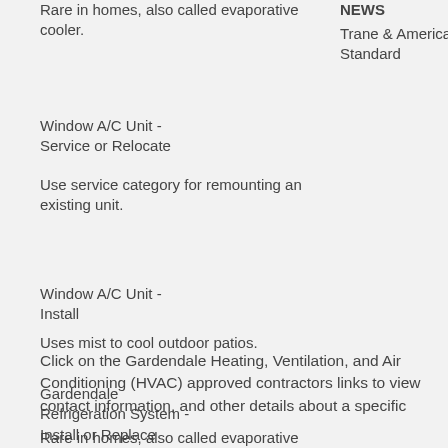Rare in homes, also called evaporative cooler.
NEWS
Trane & American Standard
Window A/C Unit - Service or Relocate
Use service category for remounting an existing unit.
Window A/C Unit - Install
Uses mist to cool outdoor patios.
Gardendale Refrigeration System - Install or Replace
Rare in homes, also called evaporative cooler.
Click on the Gardendale Heating, Ventilation, and Air Conditioning (HVAC) approved contractors links to view contact information, and other details about a specific